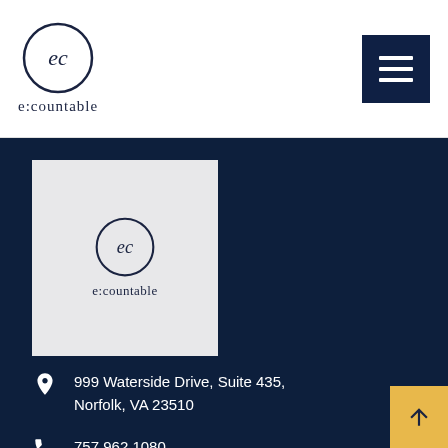[Figure (logo): e:countable logo — circular emblem with 'ec' monogram and text 'e:countable' below, in dark navy on white header]
[Figure (other): Hamburger menu button — dark navy square with three white horizontal lines]
[Figure (logo): e:countable logo on light grey background square in footer — circular emblem with 'ec' monogram and 'e:countable' text below]
999 Waterside Drive, Suite 435, Norfolk, VA 23510
757.962.1080
sales@ecountable.net
Quick Links